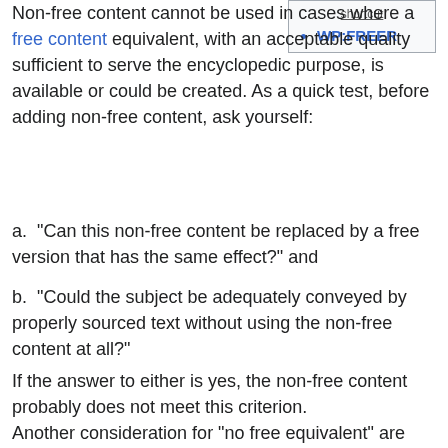Non-free content cannot be used in cases where a free content equivalent, with an acceptable quality sufficient to serve the encyclopedic purpose, is available or could be created. As a quick test, before adding non-free content, ask yourself:
shortcut
WP:FREER
a. "Can this non-free content be replaced by a free version that has the same effect?" and
b. "Could the subject be adequately conveyed by properly sourced text without using the non-free content at all?"
If the answer to either is yes, the non-free content probably does not meet this criterion.
Another consideration for "no free equivalent" are "freer" versions of non-free media, typically which